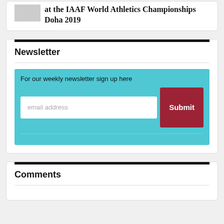at the IAAF World Athletics Championships Doha 2019
Newsletter
For our weekly newsletter sign up here
email address
Submit
Comments